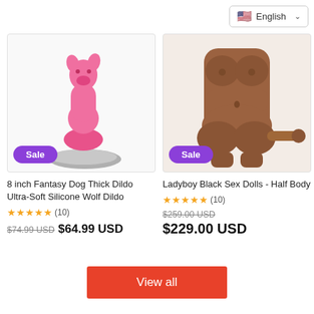English
[Figure (photo): Pink fantasy dog/wolf shaped dildo on grey base with purple Sale badge]
8 inch Fantasy Dog Thick Dildo Ultra-Soft Silicone Wolf Dildo
★★★★★(10)
$74.99 USD  $64.99 USD
[Figure (photo): Brown ladyboy half body sex doll torso with purple Sale badge]
Ladyboy Black Sex Dolls - Half Body
★★★★★(10)
$259.00 USD  $229.00 USD
View all